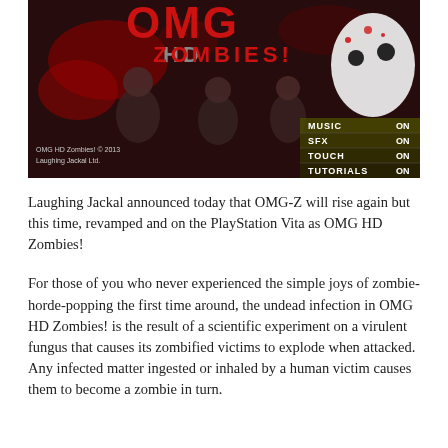[Figure (screenshot): OMG HD Zombies! game title screen screenshot showing red and grey zombie horde with game title text and settings panel showing MUSIC ON, SFX ON, TOUCH ON, TUTORIALS ON. Copyright text reads 'OMG HD Zombies! © 2013 Laughing Jackal Ltd.']
Laughing Jackal announced today that OMG-Z will rise again but this time, revamped and on the PlayStation Vita as OMG HD Zombies!
For those of you who never experienced the simple joys of zombie-horde-popping the first time around, the undead infection in OMG HD Zombies! is the result of a scientific experiment on a virulent fungus that causes its zombified victims to explode when attacked. Any infected matter ingested or inhaled by a human victim causes them to become a zombie in turn.